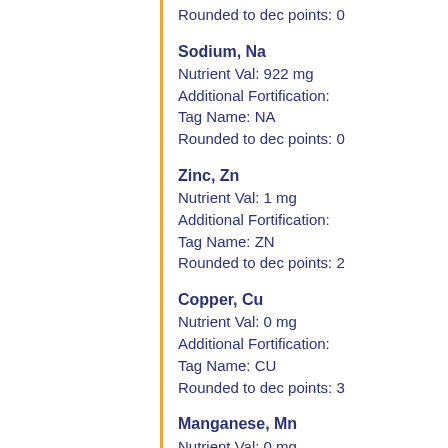Rounded to dec points: 0
Sodium, Na
Nutrient Val: 922 mg
Additional Fortification:
Tag Name: NA
Rounded to dec points: 0
Zinc, Zn
Nutrient Val: 1 mg
Additional Fortification:
Tag Name: ZN
Rounded to dec points: 2
Copper, Cu
Nutrient Val: 0 mg
Additional Fortification:
Tag Name: CU
Rounded to dec points: 3
Manganese, Mn
Nutrient Val: 0 mg
Additional Fortification:
Tag Name: MN
Rounded to dec points: 3